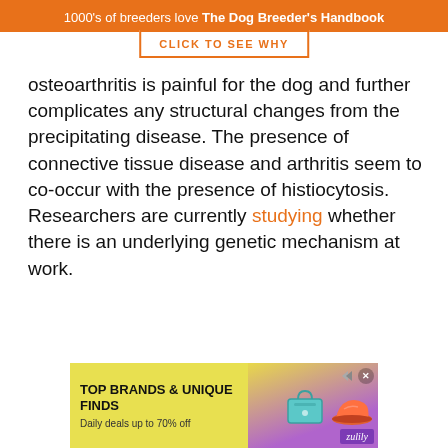1000's of breeders love The Dog Breeder's Handbook
[Figure (other): Orange button overlay reading CLICK TO SEE WHY]
osteoarthritis is painful for the dog and further complicates any structural changes from the precipitating disease. The presence of connective tissue disease and arthritis seem to co-occur with the presence of histiocytosis. Researchers are currently studying whether there is an underlying genetic mechanism at work.
[Figure (other): Advertisement banner: TOP BRANDS & UNIQUE FINDS. Daily deals up to 70% off. Zulily ad with handbag and shoe image.]